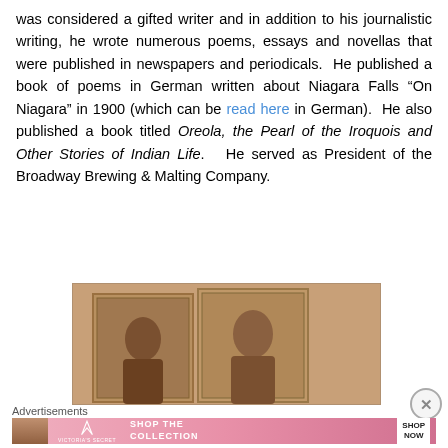was considered a gifted writer and in addition to his journalistic writing, he wrote numerous poems, essays and novellas that were published in newspapers and periodicals. He published a book of poems in German written about Niagara Falls “On Niagara” in 1900 (which can be read here in German). He also published a book titled Oreola, the Pearl of the Iroquois and Other Stories of Indian Life. He served as President of the Broadway Brewing & Malting Company.
[Figure (photo): Two vintage portrait photographs in ornate frames against a warm brown/peach background]
Advertisements
[Figure (illustration): Victoria's Secret advertisement banner: woman with curly hair, VS logo, text SHOP THE COLLECTION, SHOP NOW button on pink gradient background]